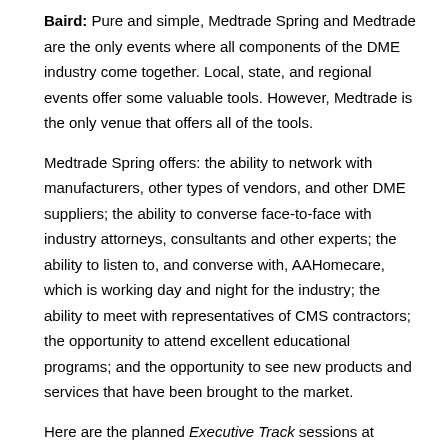Baird: Pure and simple, Medtrade Spring and Medtrade are the only events where all components of the DME industry come together. Local, state, and regional events offer some valuable tools. However, Medtrade is the only venue that offers all of the tools.
Medtrade Spring offers: the ability to network with manufacturers, other types of vendors, and other DME suppliers; the ability to converse face-to-face with industry attorneys, consultants and other experts; the ability to listen to, and converse with, AAHomecare, which is working day and night for the industry; the ability to meet with representatives of CMS contractors; the opportunity to attend excellent educational programs; and the opportunity to see new products and services that have been brought to the market.
Here are the planned Executive Track sessions at Medtrade Spring Tuesday, March 1
1:30 PM – 2:30 PM